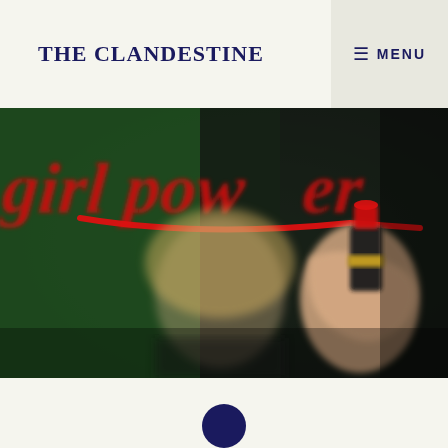THE CLANDESTINE
[Figure (photo): A blurred photo of a person holding red lipstick writing 'girl power' in red cursive on a green surface. The hand and lipstick are in focus in the right portion; the text and person's face are blurred in the background.]
[Figure (other): Partial view of a dark navy circular avatar/profile image at the bottom center of the page]